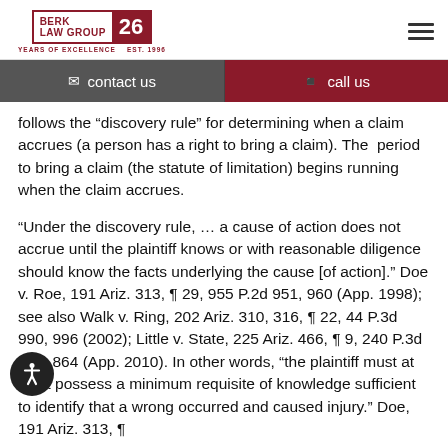BERK LAW GROUP 26 YEARS OF EXCELLENCE EST. 1996
contact us | call us
follows the “discovery rule” for determining when a claim accrues (a person has a right to bring a claim). The period to bring a claim (the statute of limitation) begins running when the claim accrues.
“Under the discovery rule, … a cause of action does not accrue until the plaintiff knows or with reasonable diligence should know the facts underlying the cause [of action].” Doe v. Roe, 191 Ariz. 313, ¶ 29, 955 P.2d 951, 960 (App. 1998); see also Walk v. Ring, 202 Ariz. 310, 316, ¶ 22, 44 P.3d 990, 996 (2002); Little v. State, 225 Ariz. 466, ¶ 9, 240 P.3d 861, 864 (App. 2010). In other words, “the plaintiff must at least possess a minimum requisite of knowledge sufficient to identify that a wrong occurred and caused injury.” Doe, 191 Ariz. 313, ¶ 29, 955 P.2d at 961.